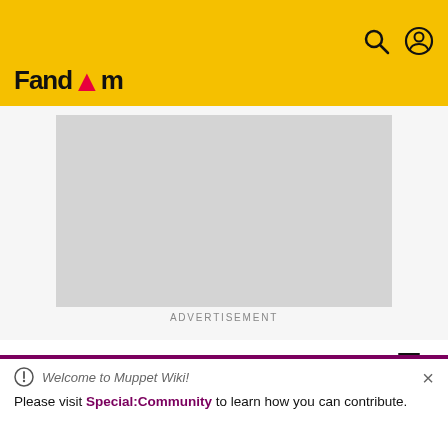Fandom
[Figure (other): Advertisement placeholder (gray rectangle)]
ADVERTISEMENT
MUPPET WIKI
Episode 0580
Welcome to Muppet Wiki!
Please visit Special:Community to learn how you can contribute.